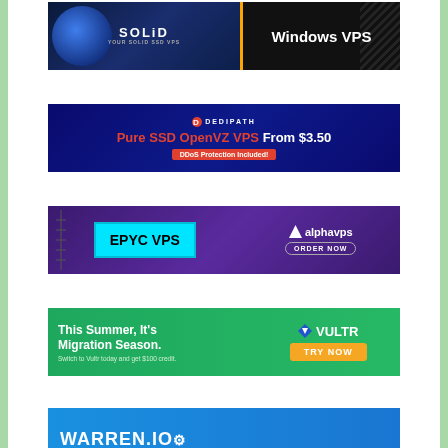[Figure (illustration): SOLiD VPS ad banner - dark blue globe background on left with SOLiD logo, black background on right showing 'Windows VPS' text]
[Figure (illustration): DediPath ad banner - dark navy background with DediPath logo, 'Pure SSD OpenVZ VPS From $3.50' headline in red and white, DDoS Protection Included badge]
[Figure (illustration): AlphaVPS ad banner - purple background with circuit board design, cyan EPYC VPS chip element on left, AlphaVPS logo and ORDER NOW button on right]
[Figure (illustration): Vultr ad banner - green background with 'This Summer, It's Migration Season. Switch to Vultr today and get $100 credit.' text, Vultr logo and TRY NOW orange button]
[Figure (illustration): Warren.io ad banner - blue background, partially visible, showing WARREN.IO text at bottom]